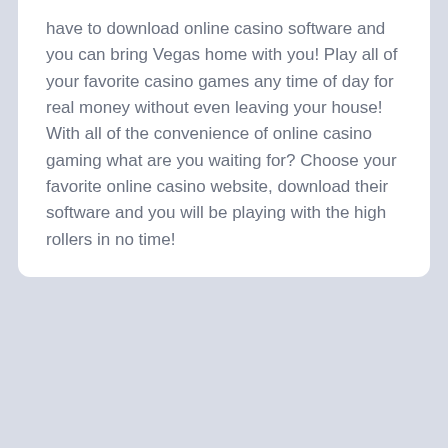have to download online casino software and you can bring Vegas home with you! Play all of your favorite casino games any time of day for real money without even leaving your house! With all of the convenience of online casino gaming what are you waiting for? Choose your favorite online casino website, download their software and you will be playing with the high rollers in no time!
June 10, 2022 by Worldhide  Uncategorized  0
You may also like...
[Figure (photo): Placeholder thumbnail image with camera icon]
[Figure (photo): Placeholder thumbnail image with camera icon]